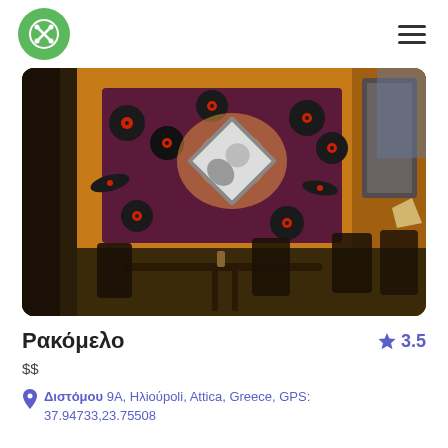[Figure (photo): Interior of a restaurant/bar with dim lighting, vinyl records decorating a dark red/maroon wall panel, a glowing framed picture, yellow walls, and wooden chairs and tables in the foreground.]
Ρακόμελο
$$
Διστόμου 9A, Ηλioύpoli, Attica, Greece, GPS: 37.94733,23.75508